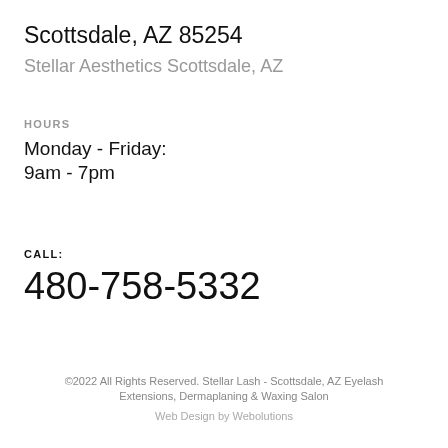Scottsdale, AZ 85254
Stellar Aesthetics Scottsdale, AZ
HOURS
Monday - Friday:
9am - 7pm
CALL:
480-758-5332
©2022 All Rights Reserved. Stellar Lash - Scottsdale, AZ Eyelash Extensions, Dermaplaning & Waxing Salon
Web Design by Webolutions